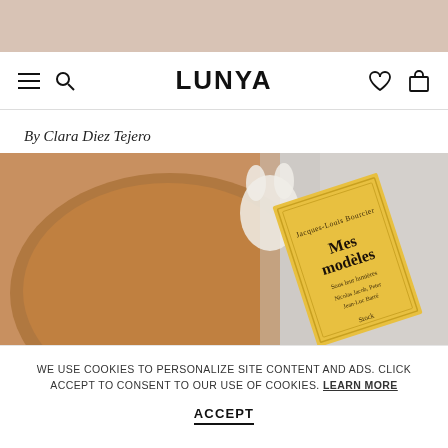[Figure (logo): Top decorative banner in dusty pink/beige color]
LUNYA — navigation header with hamburger menu, search icon, brand logo, heart icon, and bag icon
By Clara Diez Tejero
[Figure (photo): A yellow French book titled 'Mes modèles' by Jacques-Louis Bourcier resting on a wooden plate with a white ceramic rabbit figurine and white linen fabric in the background]
WE USE COOKIES TO PERSONALIZE SITE CONTENT AND ADS. CLICK ACCEPT TO CONSENT TO OUR USE OF COOKIES. LEARN MORE
ACCEPT